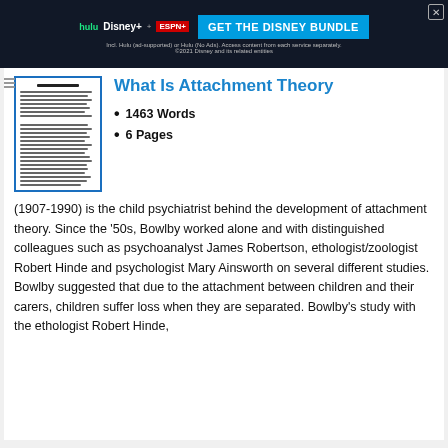[Figure (screenshot): Streaming service advertisement banner for Disney Bundle (Hulu, Disney+, ESPN+)]
[Figure (photo): Thumbnail preview of a document/essay page with lines of text]
What Is Attachment Theory
1463 Words
6 Pages
(1907-1990) is the child psychiatrist behind the development of attachment theory. Since the ‘50s, Bowlby worked alone and with distinguished colleagues such as psychoanalyst James Robertson, ethologist/zoologist Robert Hinde and psychologist Mary Ainsworth on several different studies. Bowlby suggested that due to the attachment between children and their carers, children suffer loss when they are separated. Bowlby’s study with the ethologist Robert Hinde,